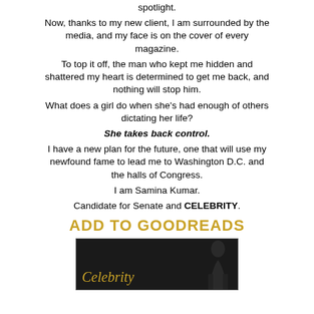spotlight.
Now, thanks to my new client, I am surrounded by the media, and my face is on the cover of every magazine.
To top it off, the man who kept me hidden and shattered my heart is determined to get me back, and nothing will stop him.
What does a girl do when she’s had enough of others dictating her life?
She takes back control.
I have a new plan for the future, one that will use my newfound fame to lead me to Washington D.C. and the halls of Congress.
I am Samina Kumar.
Candidate for Senate and CELEBRITY.
ADD TO GOODREADS
[Figure (illustration): Book cover showing the title 'Celebrity' in gold italic script on a dark background with a silhouette figure on the right side.]